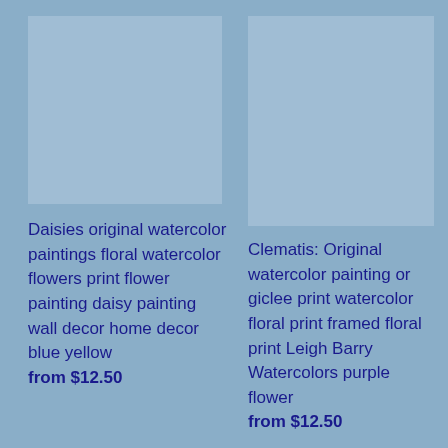[Figure (photo): Top-left product image placeholder for Daisies watercolor painting]
[Figure (photo): Top-right product image placeholder for Clematis watercolor painting]
Daisies original watercolor paintings floral watercolor flowers print flower painting daisy painting wall decor home decor blue yellow from $12.50
Clematis: Original watercolor painting or giclee print watercolor floral print framed floral print Leigh Barry Watercolors purple flower from $12.50